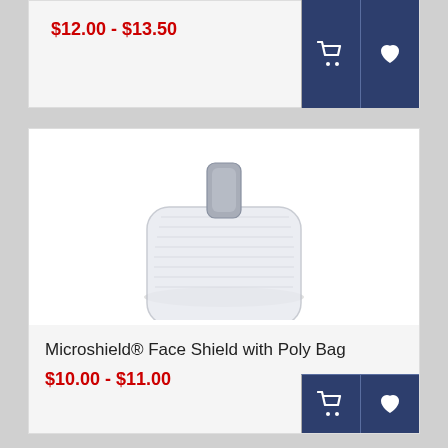$12.00 - $13.50
[Figure (photo): Shopping cart icon button (dark navy blue background)]
[Figure (photo): Heart/favorite icon button (dark navy blue background)]
[Figure (photo): Microshield Face Shield product image - transparent/white adhesive pad with grey connector tab in center]
Microshield® Face Shield with Poly Bag
$10.00 - $11.00
[Figure (photo): Shopping cart icon button (dark navy blue background)]
[Figure (photo): Heart/favorite icon button (dark navy blue background)]
[Figure (photo): Partial image of red Ambu branded case/pouch product at bottom of page]